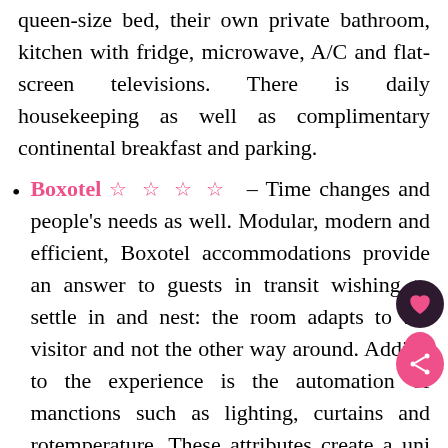queen-size bed, their own private bathroom, kitchen with fridge, microwave, A/C and flat-screen televisions. There is daily housekeeping as well as complimentary continental breakfast and parking.
Boxotel ☆ ☆ ☆ ☆ – Time changes and people's needs as well. Modular, modern and efficient, Boxotel accommodations provide an answer to guests in transit wishing to settle in and nest: the room adapts to the visitor and not the other way around. Adding to the experience is the automation of many functions such as lighting, curtains and room temperature. These attributes create a unique and personalized stay for complete comfort